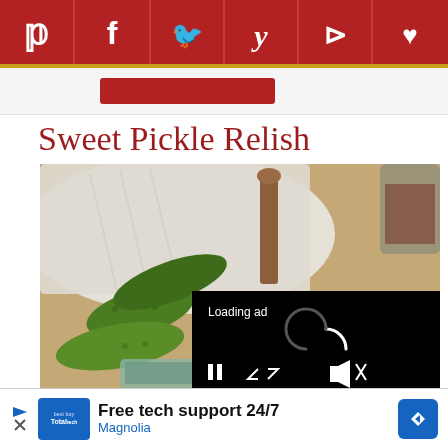[Figure (screenshot): Social sharing bar with Pinterest, Facebook, Twitter, Yummly, Flipboard, and heart/save icons on dark red background]
[Figure (photo): Sweet Pickle Relish recipe photo showing cucumbers, a cloth towel, wooden spoon and mason jar on a wooden surface. A video player overlay shows 'Loading ad' with spinner and playback controls.]
Sweet Pickle Relish
[Figure (screenshot): Advertisement banner: Free tech support 24/7 - Magnolia, with TotalTech logo and blue navigation arrow icon]